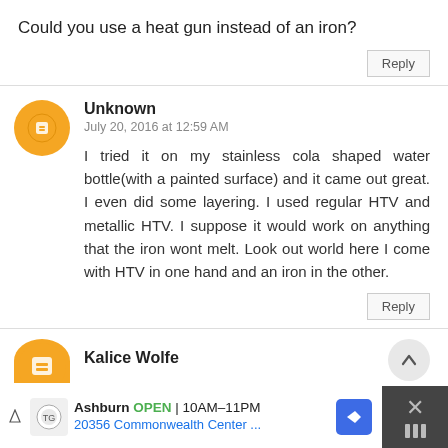Could you use a heat gun instead of an iron?
Reply
Unknown
July 20, 2016 at 12:59 AM
I tried it on my stainless cola shaped water bottle(with a painted surface) and it came out great. I even did some layering. I used regular HTV and metallic HTV. I suppose it would work on anything that the iron wont melt. Look out world here I come with HTV in one hand and an iron in the other.
Reply
Kalice Wolfe
Ashburn OPEN 10AM–11PM 20356 Commonwealth Center ...